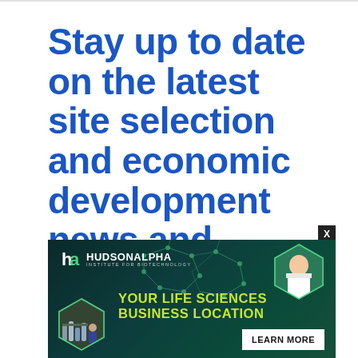Stay up to date on the latest site selection and economic development news and information
[Figure (illustration): HudsonAlpha Institute for Biotechnology advertisement banner. Dark teal/green background with hexagonal network graphics, a scientist in a lab setting in a hexagonal frame, a lab photo in another hexagonal frame, and text 'YOUR LIFE SCIENCES BUSINESS LOCATION' in green/yellow bold font with a 'LEARN MORE' white button. HudsonAlpha logo in top left.]